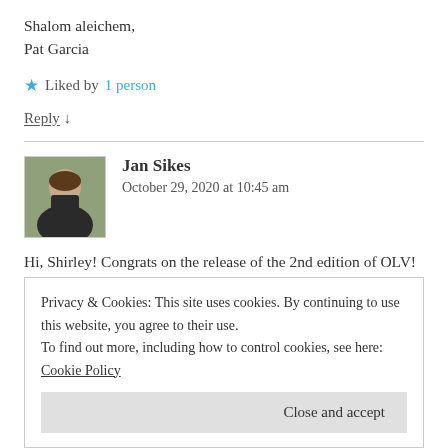Shalom aleichem,
Pat Garcia
★ Liked by 1 person
Reply ↓
[Figure (photo): Avatar photo of Jan Sikes, a woman in a dark top]
Jan Sikes
October 29, 2020 at 10:45 am
Hi, Shirley! Congrats on the release of the 2nd edition of OLV!
Privacy & Cookies: This site uses cookies. By continuing to use this website, you agree to their use.
To find out more, including how to control cookies, see here: Cookie Policy
Close and accept
Reply ↓